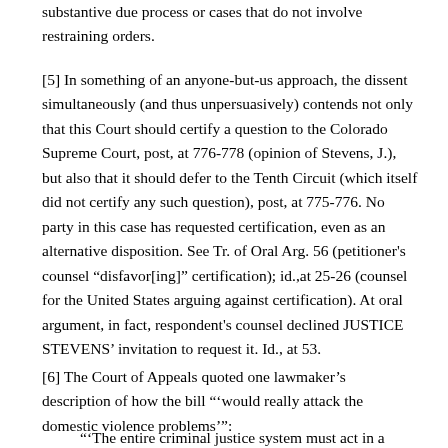substantive due process or cases that do not involve restraining orders.
[5] In something of an anyone-but-us approach, the dissent simultaneously (and thus unpersuasively) contends not only that this Court should certify a question to the Colorado Supreme Court, post, at 776-778 (opinion of Stevens, J.), but also that it should defer to the Tenth Circuit (which itself did not certify any such question), post, at 775-776. No party in this case has requested certification, even as an alternative disposition. See Tr. of Oral Arg. 56 (petitioner's counsel “disfavor[ing]” certification); id.,at 25-26 (counsel for the United States arguing against certification). At oral argument, in fact, respondent's counsel declined JUSTICE STEVENS’ invitation to request it. Id., at 53.
[6] The Court of Appeals quoted one lawmaker’s description of how the bill "‘would really attack the domestic violence problems’":
"‘The entire criminal justice system must act in a consistent